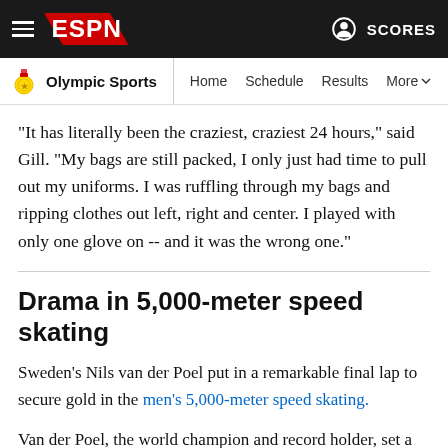[Figure (screenshot): ESPN top navigation bar with hamburger menu, ESPN logo on red/black background, and SCORES link with profile icon]
[Figure (screenshot): Olympic Sports sub-navigation bar with medal icon, Home, Schedule, Results, More links]
"It has literally been the craziest, craziest 24 hours," said Gill. "My bags are still packed, I only just had time to pull out my uniforms. I was ruffling through my bags and ripping clothes out left, right and center. I played with only one glove on -- and it was the wrong one."
Drama in 5,000-meter speed skating
Sweden's Nils van der Poel put in a remarkable final lap to secure gold in the men's 5,000-meter speed skating.
Van der Poel, the world champion and record holder, set a new Olympic record in the process as he made up a deficit of 0.99 seconds in his final lap to edge past Netherlands' Patrick Roest